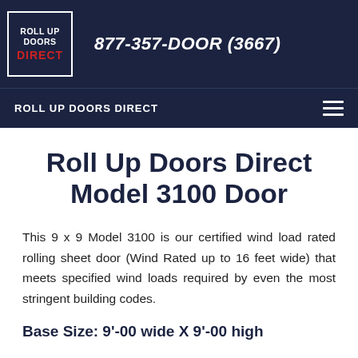877-357-DOOR (3667)
ROLL UP DOORS DIRECT
Roll Up Doors Direct Model 3100 Door
This 9 x 9 Model 3100 is our certified wind load rated rolling sheet door (Wind Rated up to 16 feet wide) that meets specified wind loads required by even the most stringent building codes.
Base Size: 9'-00 wide X 9'-00 high